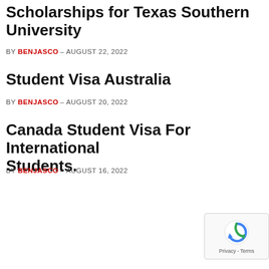Scholarships for Texas Southern University
BY BENJASCO - AUGUST 22, 2022
Student Visa Australia
BY BENJASCO - AUGUST 20, 2022
Canada Student Visa For International Students.
BY BENJASCO - AUGUST 16, 2022
[Figure (other): reCAPTCHA Privacy - Terms badge in bottom right corner]